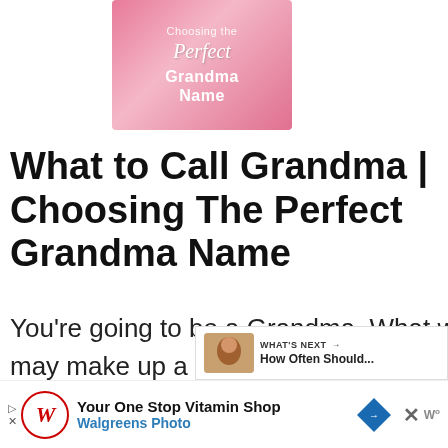[Figure (illustration): Book cover for 'Choosing the Perfect Grandma Name' with pink background and script/bold text]
What to Call Grandma | Choosing The Perfect Grandma Name
You're going to be a Grandma. What will your Grandchildren call you? They may make up a nickname for Grandma or you can encourage
[Figure (other): What's Next overlay panel with thumbnail image and text: 'How Often Should...']
[Figure (other): Walgreens advertisement banner: 'Your One Stop Vitamin Shop - Walgreens Photo']